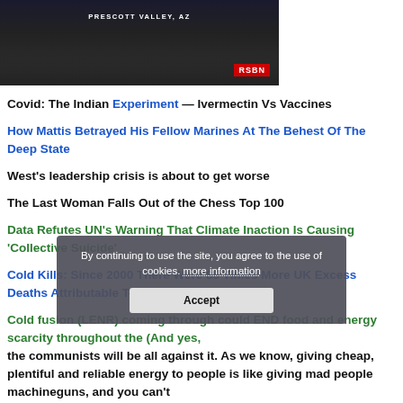[Figure (photo): Screenshot of a video broadcast from Prescott Valley, AZ with RSBN logo, showing crowd silhouette in dark background]
Covid: The Indian Experiment — Ivermectin Vs Vaccines
How Mattis Betrayed His Fellow Marines At The Behest Of The Deep State
West's leadership crisis is about to get worse
The Last Woman Falls Out of the Chess Top 100
Data Refutes UN's Warning That Climate Inaction Is Causing 'Collective Suicide'
Cold Kills: Since 2000 There Were 85 Times More UK Excess Deaths Attributable To Cold Than Heat
By continuing to use the site, you agree to the use of cookies. more information
Accept
Cold fusion (LENR)coming through could END food and energy scarcity throughout the world (And yes, the communists will be all against it. As we know, giving cheap, plentiful and reliable energy to people is like giving mad people machineguns, and you can't